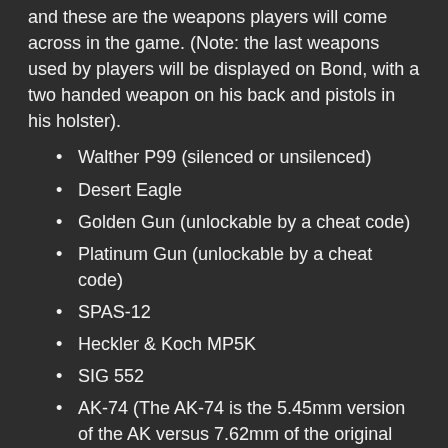and these are the weapons players will come across in the game. (Note: the last weapons used by players will be displayed on Bond, with a two handed weapon on his back and pistols in his holster).
Walther P99 (silenced or unsilenced)
Desert Eagle
Golden Gun (unlockable by a cheat code)
Platinum Gun (unlockable by a cheat code)
SPAS-12
Heckler & Koch MP5K
SIG 552
AK-74 (The AK-74 is the 5.45mm version of the AK versus 7.62mm of the original AK-47)
Although the game calls it an AK-74, the weapon model is actually that of the AK-47/AKM.
Dragunov Sniper Rifle (A sniper variant of the AKM)